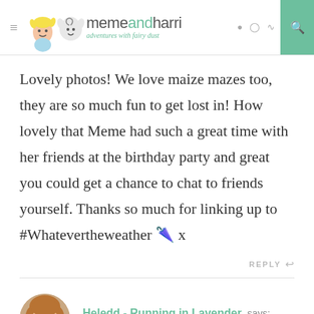memeandharri - adventures with fairy dust
Lovely photos! We love maize mazes too, they are so much fun to get lost in! How lovely that Meme had such a great time with her friends at the birthday party and great you could get a chance to chat to friends yourself. Thanks so much for linking up to #Whatevertheweather 🌂 x
REPLY
Heledd - Running in Lavender says:
OCTOBER 4, 2016 AT 6:52 AM